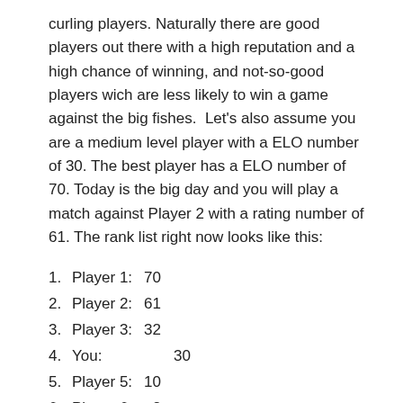curling players. Naturally there are good players out there with a high reputation and a high chance of winning, and not-so-good players wich are less likely to win a game against the big fishes.  Let's also assume you are a medium level player with a ELO number of 30. The best player has a ELO number of 70. Today is the big day and you will play a match against Player 2 with a rating number of 61. The rank list right now looks like this:
1. Player 1: 70
2. Player 2: 61
3. Player 3: 32
4. You:        30
5. Player 5: 10
6. Player 6:   2
According to the rules of fantasy curling, there has to be a winner and a looser – a remi is not allowed. At the end